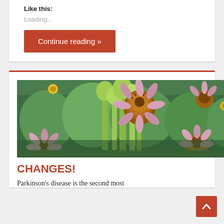Like this:
Loading...
Continue reading »
[Figure (photo): Photograph of a garden with coneflowers (Echinacea) featuring orange/brown seed heads and pink petals, surrounded by green foliage and yellow flowers.]
CHANGES!
Parkinson's disease is the second most